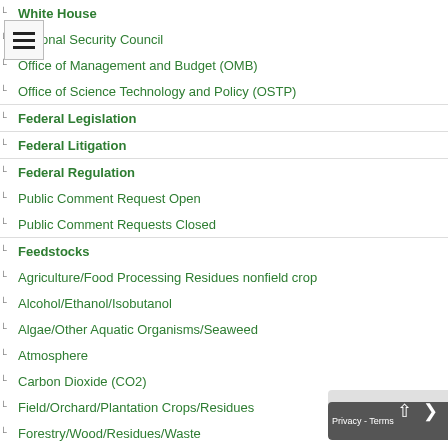White House
National Security Council
Office of Management and Budget (OMB)
Office of Science Technology and Policy (OSTP)
Federal Legislation
Federal Litigation
Federal Regulation
Public Comment Request Open
Public Comment Requests Closed
Feedstocks
Agriculture/Food Processing Residues nonfield crop
Alcohol/Ethanol/Isobutanol
Algae/Other Aquatic Organisms/Seaweed
Atmosphere
Carbon Dioxide (CO2)
Field/Orchard/Plantation Crops/Residues
Forestry/Wood/Residues/Waste
hydrogen
Manure
Methane/Biogas
Not Agriculture
Seawater
Sugars